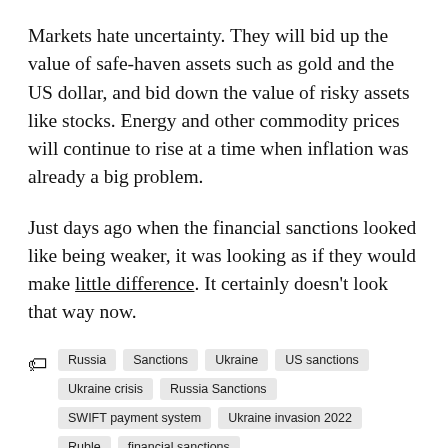Markets hate uncertainty. They will bid up the value of safe-haven assets such as gold and the US dollar, and bid down the value of risky assets like stocks. Energy and other commodity prices will continue to rise at a time when inflation was already a big problem.
Just days ago when the financial sanctions looked like being weaker, it was looking as if they would make little difference. It certainly doesn't look that way now.
Russia | Sanctions | Ukraine | US sanctions | Ukraine crisis | Russia Sanctions | SWIFT payment system | Ukraine invasion 2022 | Ruble | financial sanctions